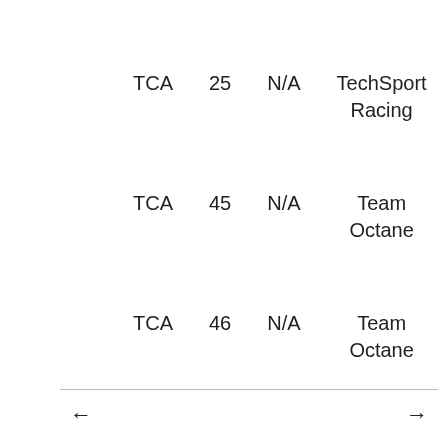| Class | No. | Score | Team | Driver |
| --- | --- | --- | --- | --- |
| TCA | 25 | N/A | TechSport Racing | P.J. Groenke |
| TCA | 45 | N/A | Team Octane | Nelson Chan |
| TCA | 46 | N/A | Team Octane | Michel Sallenbach |
← →